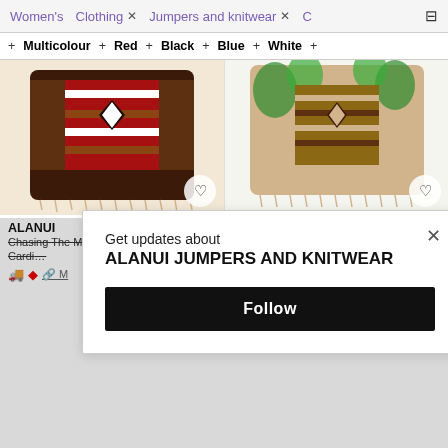Women's   Clothing ×   Jumpers and knitwear ×   C…
+ Multicolour   + Red   + Black   + Blue   + White   +
[Figure (photo): Alanui Aztec patterned cardigan in red/brown/cream colors with fringe hem]
[Figure (photo): Alanui jacquard tie-waist cardigan in tan/green/brown with fringe]
ALANUI
Chasing The Midnight Sun Cardi…
ALANUI
Jacquard Tie-waist Cardigan -  3
Get updates about
ALANUI JUMPERS AND KNITWEAR
Follow